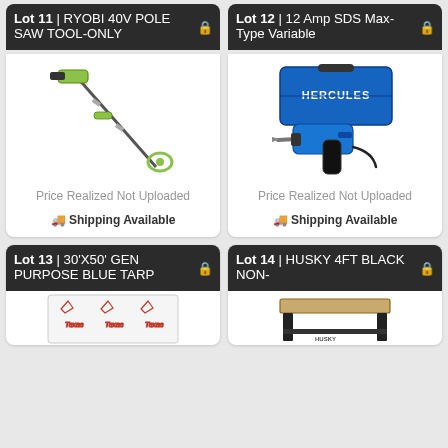Lot 11 | RYOBI 40V POLE SAW TOOL-ONLY
[Figure (photo): RYOBI 40V pole saw tool, green and black, extended pole with chainsaw head]
Price Realized Not Uploaded
🚚 Shipping Available
Lot 12 | 12 Amp SDS Max-Type Variable
[Figure (photo): 12 Amp SDS Max-Type variable rotary hammer drill with blue Hercules carrying case]
Price Realized Not Uploaded
🚚 Shipping Available
Lot 13 | 30'X50' GEN PURPOSE BLUE TARP
[Figure (photo): Blue tarp packaging with Texas star logo]
Lot 14 | HUSKY 4FT BLACK NON-
[Figure (photo): Husky 4ft black workbench with wood top]